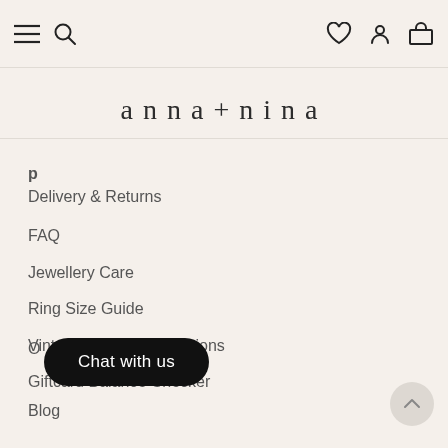anna+nina navigation header with menu, search, wishlist, account, and cart icons
anna+nina
Delivery & Returns
FAQ
Jewellery Care
Ring Size Guide
Vintage Terms & Conditions
Giftcard Balance Checker
O... (partially visible)
Blog
Chat with us